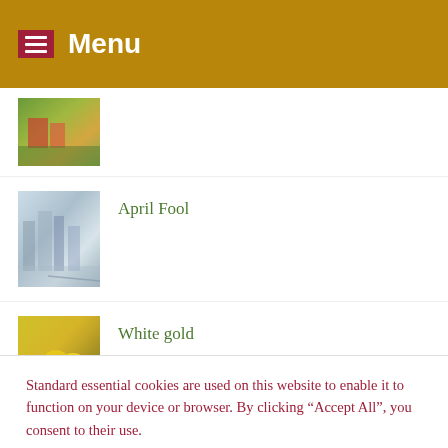Menu
[Figure (photo): Thumbnail image of an outdoor garden scene with reddish tones]
April Fool
[Figure (photo): Thumbnail image of a snowy winter garden scene in black and white tones]
White gold
[Figure (photo): Thumbnail image of yellow daffodils in a vase]
Standard essential cookies are used on this website to enable it to function on your device or browser. By clicking “Accept All”, you consent to their use.